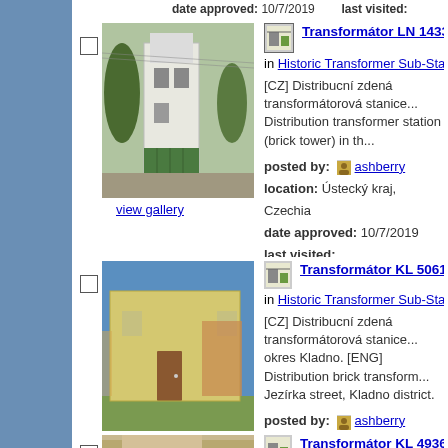date approved: 10/7/2019     last visited:
[Figure (photo): White brick transformer tower building with green garage door, trees in background]
view gallery
Transformátor LN 1433, Brloh, Cze...
in Historic Transformer Sub-Stations Buildi...
[CZ] Distribucní zdená transformátorová stanice... Distribution transformer station (brick tower) in th...
posted by: ashberry
location: Ústecký kraj, Czechia
date approved: 10/7/2019     last visited:
[Figure (photo): Yellow/beige rectangular transformer station building with brown door, residential area background]
view gallery
Transformátor KL 5061, Unhošt, U ...
in Historic Transformer Sub-Stations Buildi...
[CZ] Distribucní zdená transformátorová stanice... okres Kladno. [ENG] Distribution brick transform... Jezírka street, Kladno district.
posted by: ashberry
location: Středočeský kraj, Czechia
date approved: 9/30/2019     last visited:
[Figure (photo): Tan/brown modern transformer station building, partial view]
Transformátor KL 4936, Klobuky, N...
in Historic Transformer Sub-Stations Buildi...